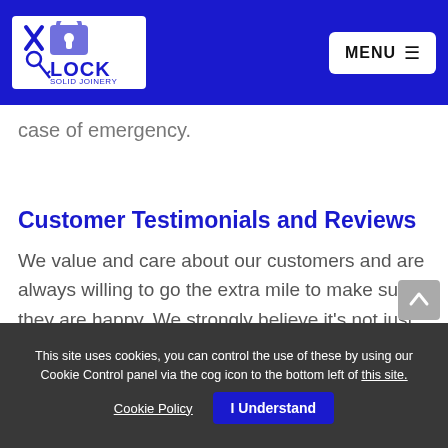X-Lock Solid Joinery — MENU
case of emergency.
Customer Testimonials and Reviews
We value and care about our customers and are always willing to go the extra mile to make sure they are happy. We strongly believe it's not just about doing a job well, good customer relations
This site uses cookies, you can control the use of these by using our Cookie Control panel via the cog icon to the bottom left of this site. Cookie Policy  I Understand